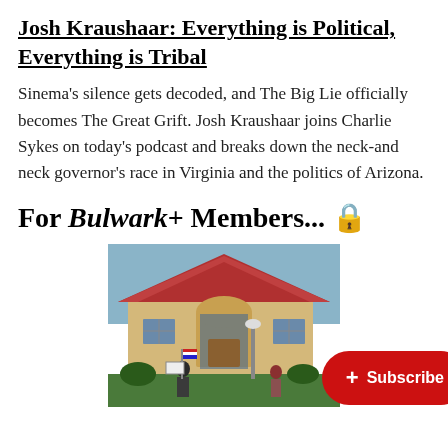Josh Kraushaar: Everything is Political, Everything is Tribal
Sinema's silence gets decoded, and The Big Lie officially becomes The Great Grift. Josh Kraushaar joins Charlie Sykes on today's podcast and breaks down the neck-and neck governor's race in Virginia and the politics of Arizona.
For Bulwark+ Members... 🔒
[Figure (photo): Photo of people standing on a lawn in front of a house with red tile roof, holding American flags and signs]